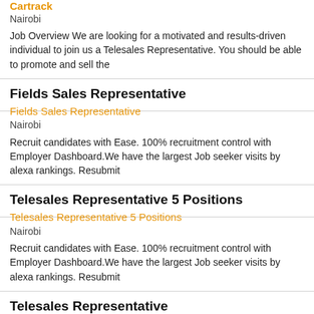Cartrack
Nairobi
Job Overview We are looking for a motivated and results-driven individual to join us a Telesales Representative. You should be able to promote and sell the
Fields Sales Representative
Fields Sales Representative
Nairobi
Recruit candidates with Ease. 100% recruitment control with Employer Dashboard.We have the largest Job seeker visits by alexa rankings. Resubmit
Telesales Representative 5 Positions
Telesales Representative 5 Positions
Nairobi
Recruit candidates with Ease. 100% recruitment control with Employer Dashboard.We have the largest Job seeker visits by alexa rankings. Resubmit
Telesales Representative
Cartrack
Nairobi
Job OverviewWe are looking for a motivated and results-driven individual to join us a Telesales Representative. You should be able to promote and sell the